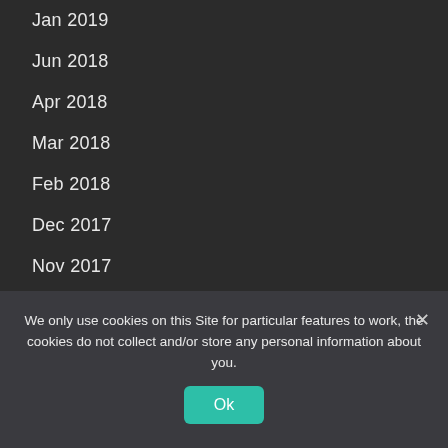Jan 2019
Jun 2018
Apr 2018
Mar 2018
Feb 2018
Dec 2017
Nov 2017
Oct 2017
Aug 2017
Jul 2017
Jun 2017
May 2017
We only use cookies on this Site for particular features to work, the cookies do not collect and/or store any personal information about you.